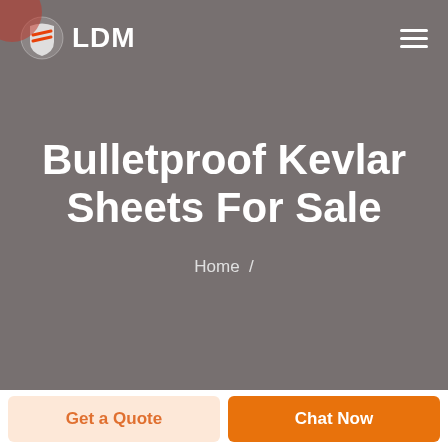LDM
Bulletproof Kevlar Sheets For Sale
Home /
Get a Quote
Chat Now